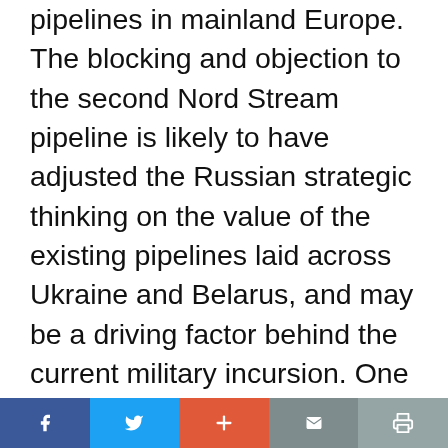pipelines in mainland Europe. The blocking and objection to the second Nord Stream pipeline is likely to have adjusted the Russian strategic thinking on the value of the existing pipelines laid across Ukraine and Belarus, and may be a driving factor behind the current military incursion. One of the many tragedies of this conflict is that no amount of trade rerouting can fully replace the lost flow of hydrocarbons if Russia decides to close the pipes. If the conflict continues, it will result in acute energy shortages and material economic contraction throughout Europe—and higher energy prices globally.
Social share bar: Facebook, Twitter, Plus, Mail, Print